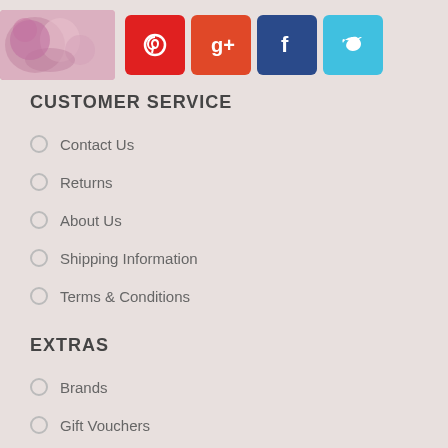[Figure (logo): Logo image with colorful illustration and social media icons for Pinterest, Google+, Facebook, Twitter]
CUSTOMER SERVICE
Contact Us
Returns
About Us
Shipping Information
Terms & Conditions
EXTRAS
Brands
Gift Vouchers
Affiliates
Specials